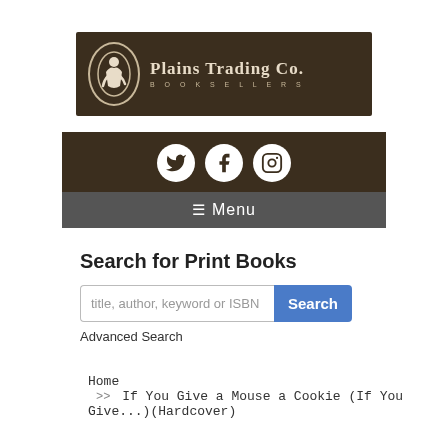[Figure (logo): Plains Trading Co. Booksellers logo with brown background, oval with figure, serif text]
[Figure (infographic): Social media icons bar (Twitter, Facebook, Instagram) on brown background with Menu bar below]
Search for Print Books
title, author, keyword or ISBN [Search] [Advanced Search]
Home >> If You Give a Mouse a Cookie (If You Give...)(Hardcover)